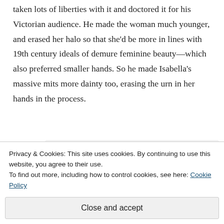taken lots of liberties with it and doctored it for his Victorian audience. He made the woman much younger, and erased her halo so that she'd be more in lines with 19th century ideals of demure feminine beauty—which also preferred smaller hands. So he made Isabella's massive mits more dainty too, erasing the urn in her hands in the process.
[Figure (other): Promotional box with bold text 'And free.' and four circular avatar images below it on a light grey background]
Privacy & Cookies: This site uses cookies. By continuing to use this website, you agree to their use.
To find out more, including how to control cookies, see here: Cookie Policy
Close and accept